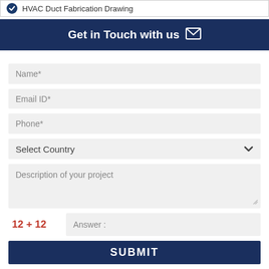HVAC Duct Fabrication Drawing
Get in Touch with us
Name*
Email ID*
Phone*
Select Country
Description of your project
12 + 12   Answer :
SUBMIT